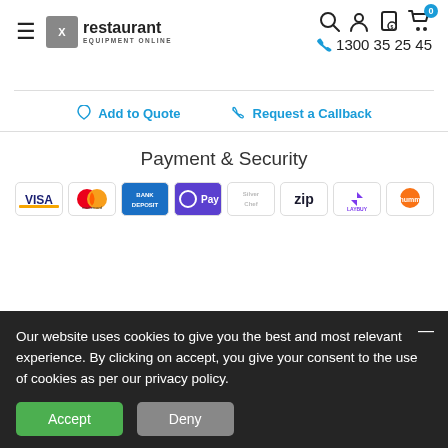[Figure (logo): Restaurant Equipment Online logo with hamburger menu icon]
1300 35 25 45
Add to Quote
Request a Callback
Payment & Security
[Figure (infographic): Payment logos: VISA, Mastercard, Bank Deposit, OPay, Silver Chef, Zip, Laybuy, humm]
Our website uses cookies to give you the best and most relevant experience. By clicking on accept, you give your consent to the use of cookies as per our privacy policy.
Accept
Deny